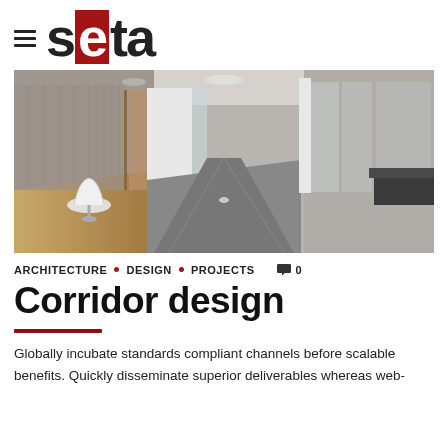seta
[Figure (photo): Interior corridor of a modern office space with grey carpet, white walls, glass partitions, wooden flooring in side room with a white chair, and recessed ceiling lights.]
ARCHITECTURE • DESIGN • PROJECTS  💬 0
Corridor design
Globally incubate standards compliant channels before scalable benefits. Quickly disseminate superior deliverables whereas web-